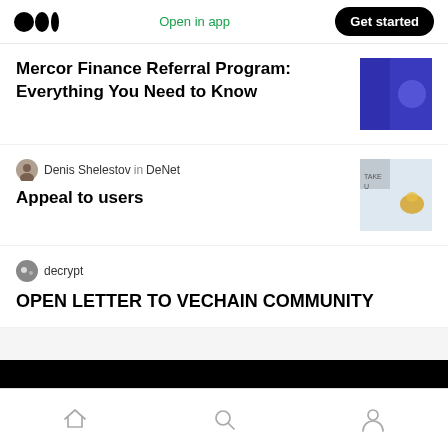Open in app | Get started
Mercor Finance Referral Program: Everything You Need to Know
Denis Shelestov in DeNet
Appeal to users
decrypt
OPEN LETTER TO VECHAIN COMMUNITY
Home | Search | Profile